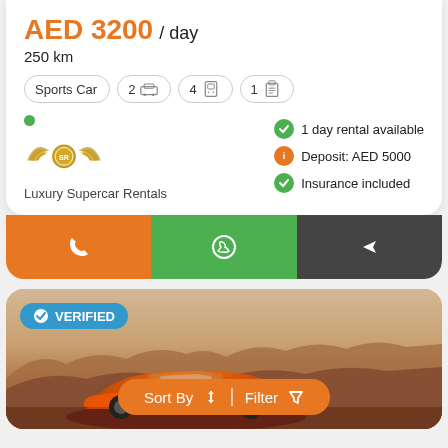AED 3200 / day
250 km
Sports Car | 2 | 4 | 1
[Figure (logo): Luxury Supercar Rentals logo - golden winged emblem with SR initials]
Luxury Supercar Rentals
1 day rental available
Deposit: AED 5000
Insurance included
[Figure (screenshot): Car rental app interface with orange call button, green WhatsApp button, dark share button, and a bottom card showing an orange sports car in a desert landscape with a VERIFIED badge and Sort By / Filter controls]